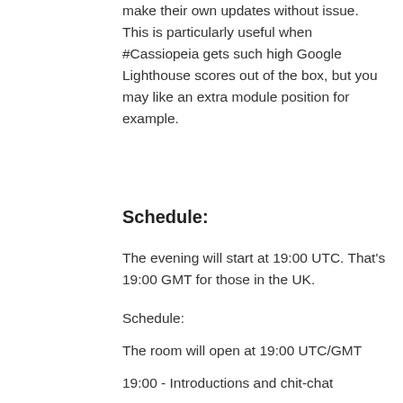make their own updates without issue.  This is particularly useful when #Cassiopeia gets such high Google Lighthouse scores out of the box, but you may like an extra module position for example.
Schedule:
The evening will start at 19:00 UTC. That's 19:00 GMT for those in the UK.
Schedule:
The room will open at 19:00 UTC/GMT
19:00 - Introductions and chit-chat
19:10 - Marc Dechèvre - One custom field to rule them all
19:50 - Questions
20:00 - Dimitris Grammatiko - Sweet child O'mine
20:40 - Questions
20:50 - Phil Walton on Joomla News/Sponsors/Info